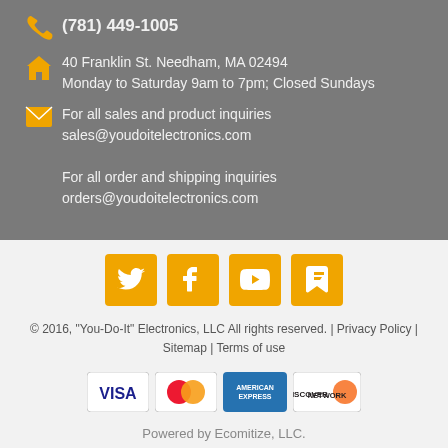(781) 449-1005
40 Franklin St. Needham, MA 02494
Monday to Saturday 9am to 7pm; Closed Sundays
For all sales and product inquiries
sales@youdoitelectronics.com

For all order and shipping inquiries
orders@youdoitelectronics.com
[Figure (infographic): Social media icons: Twitter, Facebook, YouTube, Foursquare — orange square buttons]
© 2016, "You-Do-It" Electronics, LLC All rights reserved. | Privacy Policy | Sitemap | Terms of use
[Figure (infographic): Payment icons: VISA, MasterCard, American Express, Discover]
Powered by Ecomitize, LLC.